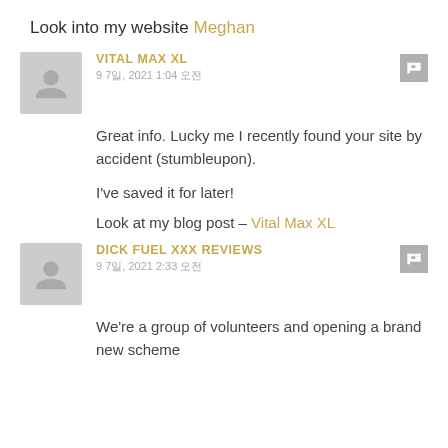Look into my website Meghan
VITAL MAX XL
9 7일, 2021 1:04 오전
Great info. Lucky me I recently found your site by accident (stumbleupon).
I've saved it for later!
Look at my blog post – Vital Max XL
DICK FUEL XXX REVIEWS
9 7일, 2021 2:33 오전
We're a group of volunteers and opening a brand new scheme